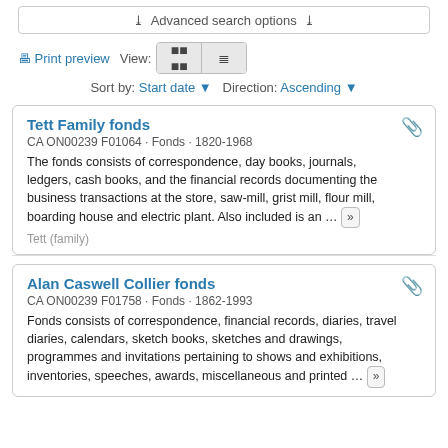Advanced search options
Print preview  View: [grid] [list]  Sort by: Start date ▼  Direction: Ascending ▼
Tett Family fonds
CA ON00239 F01064 · Fonds · 1820-1968
The fonds consists of correspondence, day books, journals, ledgers, cash books, and the financial records documenting the business transactions at the store, saw-mill, grist mill, flour mill, boarding house and electric plant. Also included is an ...
Tett (family)
Alan Caswell Collier fonds
CA ON00239 F01758 · Fonds · 1862-1993
Fonds consists of correspondence, financial records, diaries, travel diaries, calendars, sketch books, sketches and drawings, programmes and invitations pertaining to shows and exhibitions, inventories, speeches, awards, miscellaneous and printed ...